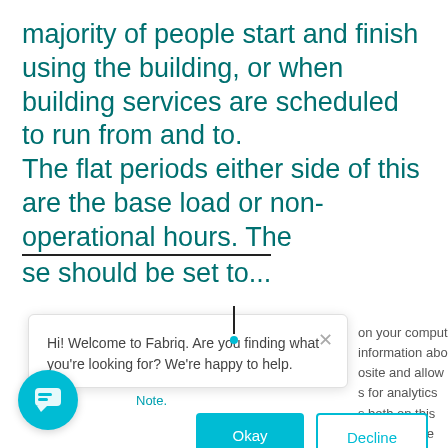majority of people start and finish using the building, or when building services are scheduled to run from and to.
The flat periods either side of this are the base load or non-operational hours. These should be set to...
[Figure (screenshot): Chat widget popup from Fabriq saying 'Hi! Welcome to Fabriq. Are you finding what you're looking for? We're happy to help.' with a close X button]
on your computer. nformation about osite and allow us s for analytics s both on this find out more ee our Privacy
Note.
Okay
Decline